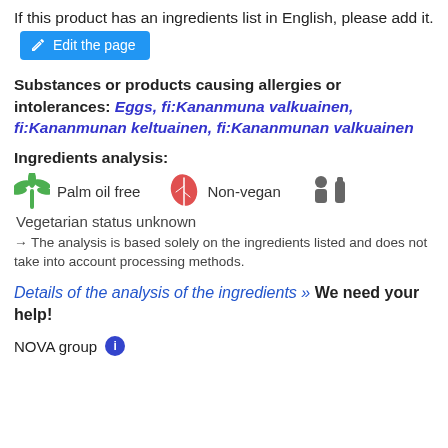If this product has an ingredients list in English, please add it.
Edit the page
Substances or products causing allergies or intolerances: Eggs, fi:Kananmuna valkuainen, fi:Kananmunan keltuainen, fi:Kananmunan valkuainen
Ingredients analysis:
Palm oil free   Non-vegan   Vegetarian status unknown
→ The analysis is based solely on the ingredients listed and does not take into account processing methods.
Details of the analysis of the ingredients » We need your help!
NOVA group